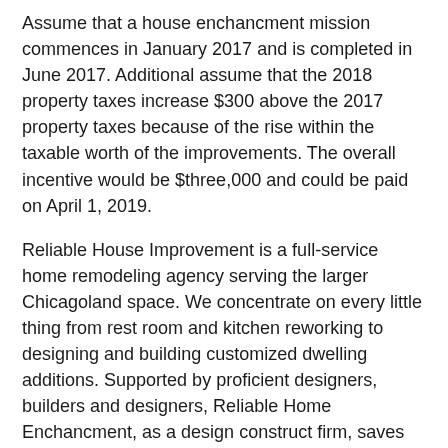Assume that a house enchancment mission commences in January 2017 and is completed in June 2017. Additional assume that the 2018 property taxes increase $300 above the 2017 property taxes because of the rise within the taxable worth of the improvements. The overall incentive would be $three,000 and could be paid on April 1, 2019.
Reliable House Improvement is a full-service home remodeling agency serving the larger Chicagoland space. We concentrate on every little thing from rest room and kitchen reworking to designing and building customized dwelling additions. Supported by proficient designers, builders and designers, Reliable Home Enchancment, as a design construct firm, saves you time by serving as a single supply for all your property improvement projects. Due to this fact, you may eradicate the necessity to contract several vendors for one job. as a result of we offer you full-service transforming from idea to completion.... READ MORE...